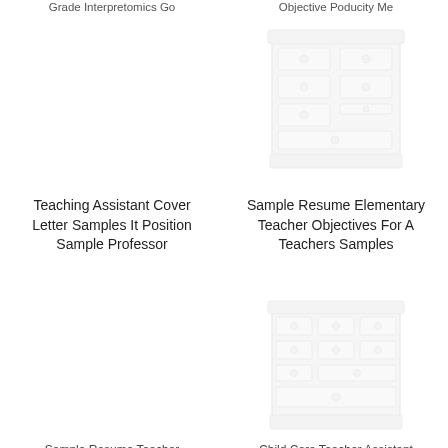Grade Interpretomics Go
Objective Poducity Me
[Figure (illustration): White dresser with drawers illustration (top right)]
Teaching Assistant Cover Letter Samples It Position Sample Professor
Sample Resume Elementary Teacher Objectives For A Teachers Samples
[Figure (illustration): White dresser with drawers illustration (bottom right)]
Sample Resume Teacher
Child Care Teacher Assistant